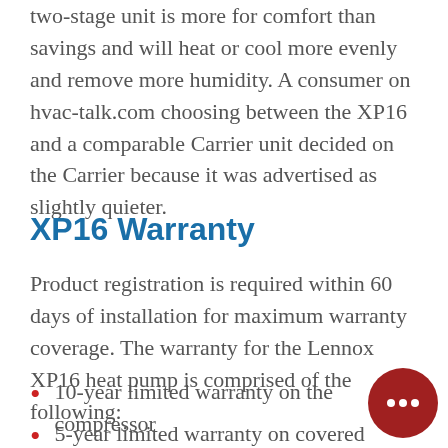two-stage unit is more for comfort than savings and will heat or cool more evenly and remove more humidity. A consumer on hvac-talk.com choosing between the XP16 and a comparable Carrier unit decided on the Carrier because it was advertised as slightly quieter.
XP16 Warranty
Product registration is required within 60 days of installation for maximum warranty coverage. The warranty for the Lennox XP16 heat pump is comprised of the following:
10-year limited warranty on the compressor
5-year limited warranty on covered compor...